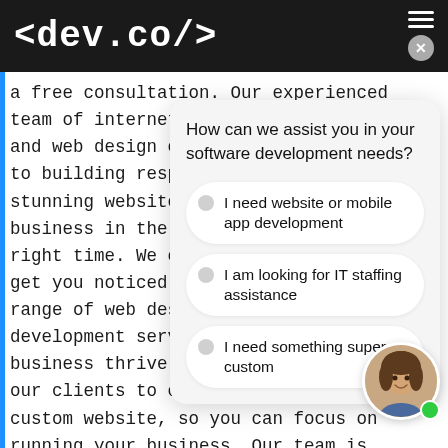<dev.co/>
a free consultation. Our experienced team of internet and web design experts, dedicated to building responsive and stunning websites, putting your business in the right place at the right time. We do everything to get you noticed. We offer a wide range of web design and development services to help your business thrive. We work closely with our clients to create a truly custom website, so you can focus on running your business. Our team is friendly, knowledgeable, and always open to networking opportunities. Our
[Figure (screenshot): Chat overlay panel with question 'How can we assist you in your software development needs?' and three options: 'I need website or mobile app development', 'I am looking for IT staffing assistance', 'I need something super custom'. Also shows a female avatar with a green online indicator dot.]